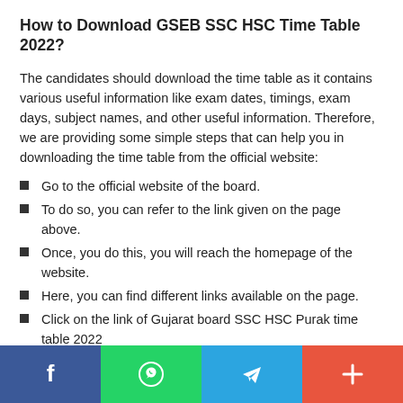How to Download GSEB SSC HSC Time Table 2022?
The candidates should download the time table as it contains various useful information like exam dates, timings, exam days, subject names, and other useful information. Therefore, we are providing some simple steps that can help you in downloading the time table from the official website:
Go to the official website of the board.
To do so, you can refer to the link given on the page above.
Once, you do this, you will reach the homepage of the website.
Here, you can find different links available on the page.
Click on the link of Gujarat board SSC HSC Purak time table 2022
Then you can see the time table available in the pdf format.
[Figure (other): Social sharing bar with Facebook, WhatsApp, Telegram, and More buttons]